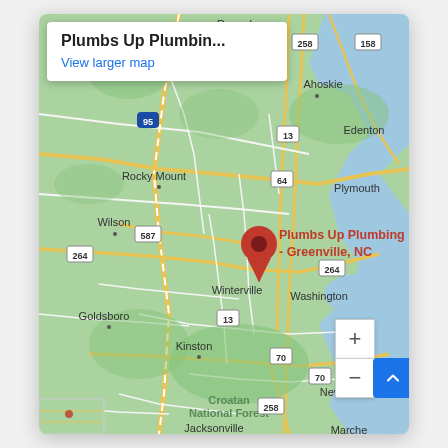[Figure (map): Google Map screenshot showing eastern North Carolina, USA. A red location pin marks 'Plumbs Up Plumbing - Greenville, NC' near Greenville, NC. Surrounding cities visible include Rocky Mount, Wilson, Goldsboro, Kinston, Washington, New Bern, Plymouth, Edenton, Ahoskie, Winterville, Jacksonville. Roads including I-95, US-64, US-264, US-587, US-13, US-258, US-158, US-70 are visible. An info box in the upper left shows the business name 'Plumbs Up Plumbin...' and a 'View larger map' link. Zoom +/- controls and a scroll-up button are in the lower right.]
Plumbs Up Plumbin...
View larger map
Plumbs Up Plumbing - Greenville, NC